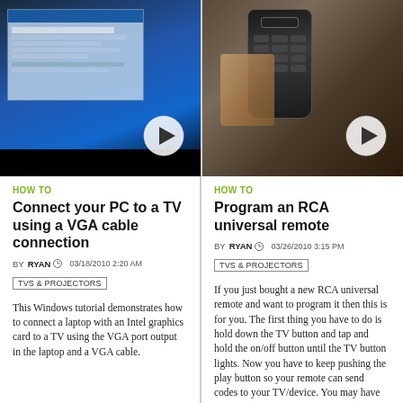[Figure (screenshot): Thumbnail of a laptop screen showing a Windows display settings dialog on a blue background, with a play button overlay]
[Figure (photo): Thumbnail of a hand holding an RCA universal remote control, with a play button overlay]
HOW TO
Connect your PC to a TV using a VGA cable connection
BY RYAN  03/18/2010 2:20 AM
TVS & PROJECTORS
This Windows tutorial demonstrates how to connect a laptop with an Intel graphics card to a TV using the VGA port output in the laptop and a VGA cable.
HOW TO
Program an RCA universal remote
BY RYAN  03/26/2010 3:15 PM
TVS & PROJECTORS
If you just bought a new RCA universal remote and want to program it then this is for you. The first thing you have to do is hold down the TV button and tap and hold the on/off button until the TV button lights. Now you have to keep pushing the play button so your remote can send codes to your TV/device. You may have to do this several times. Next you push rewind until your TV turns off. The last thing you have to do is press the stop button to make the remote accept the code. Now you remote...